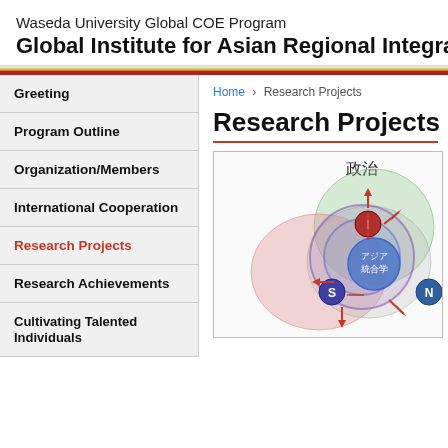Waseda University Global COE Program
Global Institute for Asian Regional Integration
Greeting
Program Outline
Organization/Members
International Cooperation
Research Projects (active)
Research Achievements
Cultivating Talented Individuals
Events
Recruitment
Links/Conference Info.
Home > Research Projects
Research Projects
[Figure (illustration): Diagram showing Asian integration study concepts with overlapping circles labeled 政治 (politics), and circles containing letters I, S, N and text アジア統合学 (Asian Integration Studies), with red arrows pointing outward]